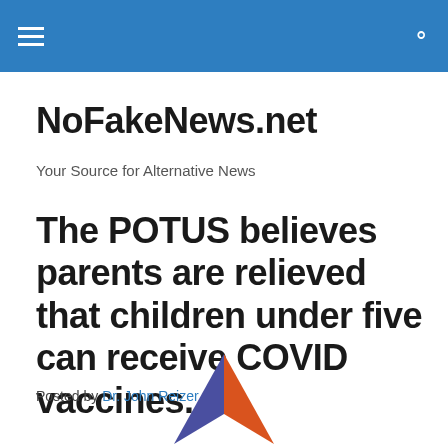NoFakeNews.net — navigation bar
NoFakeNews.net
Your Source for Alternative News
The POTUS believes parents are relieved that children under five can receive COVID vaccines.
Posted by Dr. John Reizer
[Figure (illustration): Partially visible triangular logo or graphic in blue and orange/red at the bottom center of the page.]